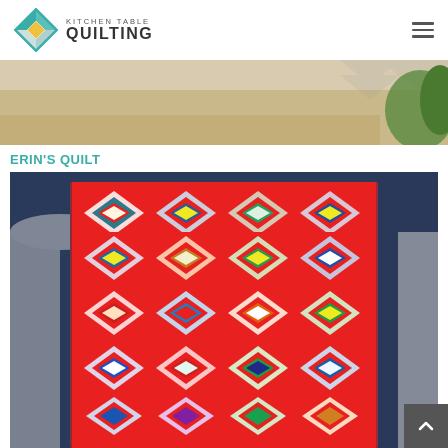KITCHEN TABLE QUILTING
[Figure (photo): Top banner photo showing a partial outdoor scene, beige/tan ground and greenery in sunlight]
ERIN'S QUILT
[Figure (photo): Photo of a colorful quilt with log cabin block pattern in bold red, teal, green, yellow, blue and white fabrics, hung on a porch with dark blue painted columns]